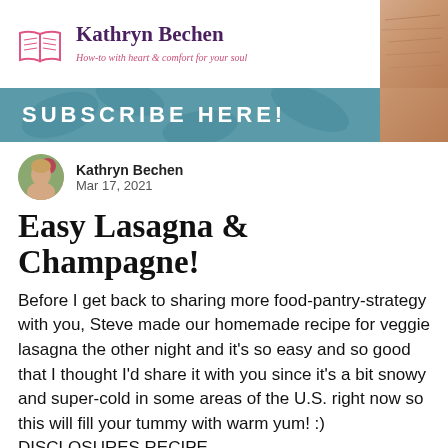Kathryn Bechen – How-to with heart & comfort for your soul
[Figure (infographic): Subscribe Here! banner with teal background and decorative leaf pattern]
Kathryn Bechen
Mar 17, 2021
Easy Lasagna & Champagne!
Before I get back to sharing more food-pantry-strategy with you, Steve made our homemade recipe for veggie lasagna the other night and it's so easy and so good that I thought I'd share it with you since it's a bit snowy and super-cold in some areas of the U.S. right now so this will fill your tummy with warm yum! :) DISCLOSURES RECIPE